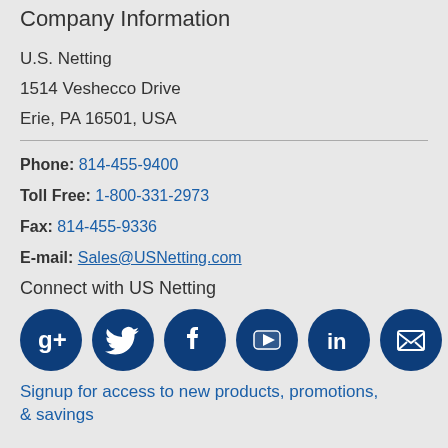Company Information
U.S. Netting
1514 Veshecco Drive
Erie, PA 16501, USA
Phone: 814-455-9400
Toll Free: 1-800-331-2973
Fax: 814-455-9336
E-mail: Sales@USNetting.com
Connect with US Netting
[Figure (infographic): Row of six dark blue circular social media icons: Google+, Twitter, Facebook, YouTube, LinkedIn, and an email/newsletter icon]
Signup for access to new products, promotions, & savings